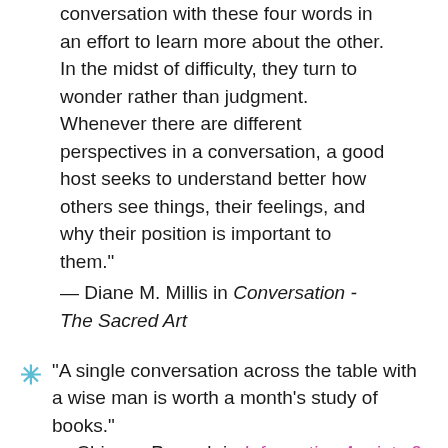conversation with these four words in an effort to learn more about the other. In the midst of difficulty, they turn to wonder rather than judgment. Whenever there are different perspectives in a conversation, a good host seeks to understand better how others see things, their feelings, and why their position is important to them."
— Diane M. Millis in Conversation - The Sacred Art
"A single conversation across the table with a wise man is worth a month's study of books." — Chinese Proverb in Information Anxiety 2 by Richard Saul Wurman
"Everyone has the opportunity to use